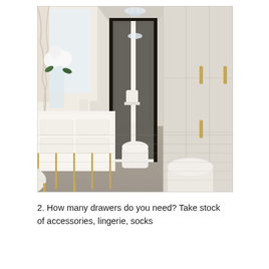[Figure (photo): Elegant luxury walk-in closet/dressing room with white and cream tones. Features a long white dresser with gold/brass hardware on the left side with a crystal vase of white flowers near a window with draped curtains. The hallway leads to a bright room with a chandelier visible through open black-framed glass doors. Tall white/cream paneled wardrobe doors with gold handles line the right wall. Two round white upholstered ottomans sit on a grey textured carpet. Crystal chandelier visible at top.]
2. How many drawers do you need? Take stock of accessories, lingerie, socks